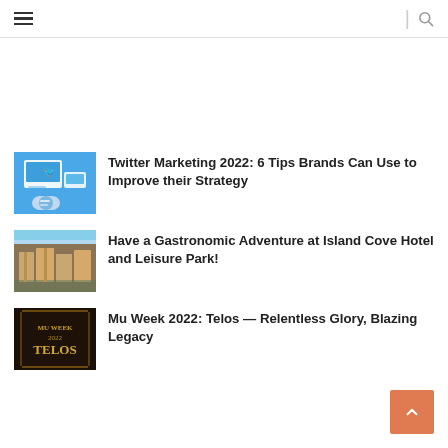≡ | 🔍
[Figure (other): Advertisement/banner space (blank)]
[Figure (photo): Twitter marketing thumbnail — blue background with Twitter bird icon and browser window graphics]
Twitter Marketing 2022: 6 Tips Brands Can Use to Improve their Strategy
[Figure (photo): Island Cove Hotel and Leisure Park thumbnail — overhead image of waterfront hotel buildings]
Have a Gastronomic Adventure at Island Cove Hotel and Leisure Park!
[Figure (photo): Mu Week 2022 Telos thumbnail — dark decorative poster with TELOS text]
Mu Week 2022: Telos — Relentless Glory, Blazing Legacy